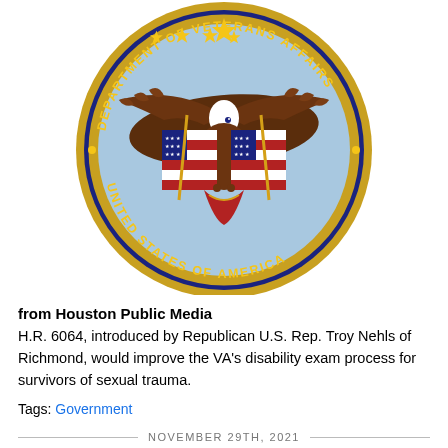[Figure (logo): Seal of the Department of Veterans Affairs, United States of America — circular dark navy blue seal with gold rope border, bald eagle with spread wings holding two American flags, gold stars at top, light blue background inside seal]
from Houston Public Media
H.R. 6064, introduced by Republican U.S. Rep. Troy Nehls of Richmond, would improve the VA's disability exam process for survivors of sexual trauma.
Tags: Government
NOVEMBER 29TH, 2021
Rep. Nehls Introduces Bill to Improve VA's Military Sexual